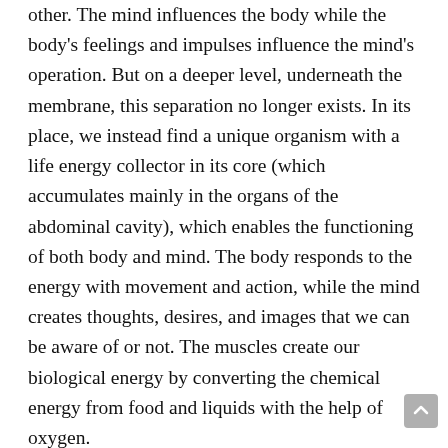other. The mind influences the body while the body's feelings and impulses influence the mind's operation. But on a deeper level, underneath the membrane, this separation no longer exists. In its place, we instead find a unique organism with a life energy collector in its core (which accumulates mainly in the organs of the abdominal cavity), which enables the functioning of both body and mind. The body responds to the energy with movement and action, while the mind creates thoughts, desires, and images that we can be aware of or not. The muscles create our biological energy by converting the chemical energy from food and liquids with the help of oxygen.
Chronic muscle tension creates blockades and distortions in the flow of this energy, which leads to permanent changes of sensations and impulses from